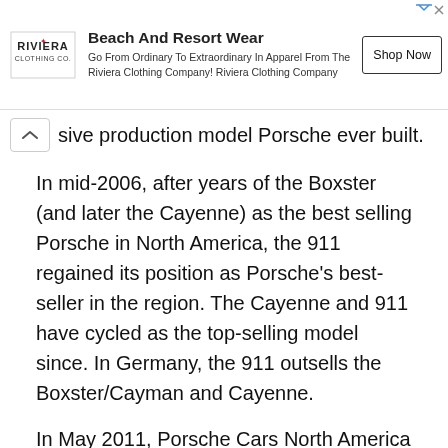[Figure (other): Advertisement banner for Riviera Clothing Co. with logo, text 'Beach And Resort Wear', description text, and 'Shop Now' button.]
sive production model Porsche ever built.
In mid-2006, after years of the Boxster (and later the Cayenne) as the best selling Porsche in North America, the 911 regained its position as Porsche's best-seller in the region. The Cayenne and 911 have cycled as the top-selling model since. In Germany, the 911 outsells the Boxster/Cayman and Cayenne.
In May 2011, Porsche Cars North America announced plans to spend $80-$100 million, but will receive about $15 million in economic incentives to move their North American headquarters from Sandy Springs, a suburb of Atlanta, to Aerotropolis, Atlanta, a new mixed-use development on the site of the old Ford Hapeville plant